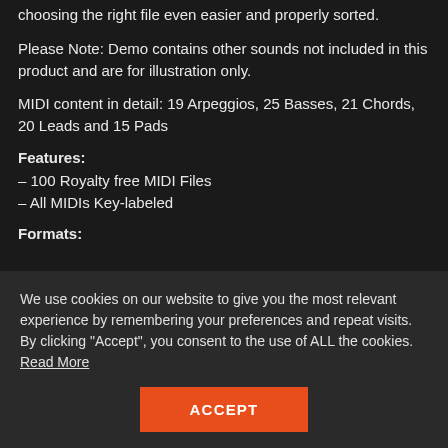choosing the right file even easier and properly sorted.
Please Note: Demo contains other sounds not included in this product and are for illustration only.
MIDI content in detail: 19 Arpeggios, 25 Basses, 21 Chords, 20 Leads and 15 Pads
Features:
– 100 Royalty free MIDI Files
– All MIDIs Key-labeled
Formats:
We use cookies on our website to give you the most relevant experience by remembering your preferences and repeat visits. By clicking “Accept”, you consent to the use of ALL the cookies. Read More
ACCEPT